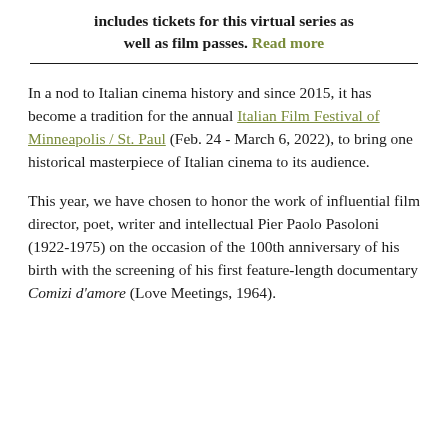includes tickets for this virtual series as well as film passes. Read more
In a nod to Italian cinema history and since 2015, it has become a tradition for the annual Italian Film Festival of Minneapolis / St. Paul (Feb. 24 - March 6, 2022), to bring one historical masterpiece of Italian cinema to its audience.
This year, we have chosen to honor the work of influential film director, poet, writer and intellectual Pier Paolo Pasoloni (1922-1975) on the occasion of the 100th anniversary of his birth with the screening of his first feature-length documentary Comizi d'amore (Love Meetings, 1964).